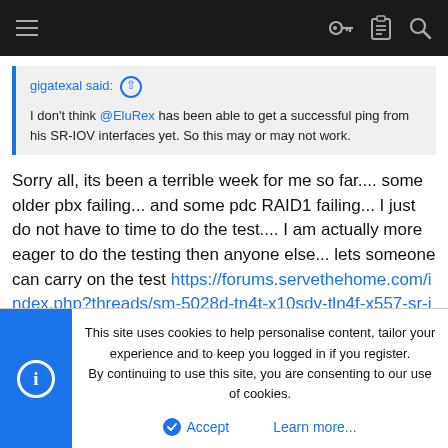Navigation bar with menu, key, clipboard, and search icons
gigatexal said: ↑

I don't think @EluRex has been able to get a successful ping from his SR-IOV interfaces yet. So this may or may not work.
Sorry all, its been a terrible week for me so far.... some older pbx failing... and some pdc RAID1 failing... I just do not have to time to do the test.... I am actually more eager to do the testing then anyone else... lets someone can carry on the test https://forums.servethehome.com/index.php?threads/sm-5028d-tn4t-x10sdv-tln4f-x557-sr-iov-issue.7309/ where I left off..
This site uses cookies to help personalise content, tailor your experience and to keep you logged in if you register.
By continuing to use this site, you are consenting to our use of cookies.
Accept  Learn more...